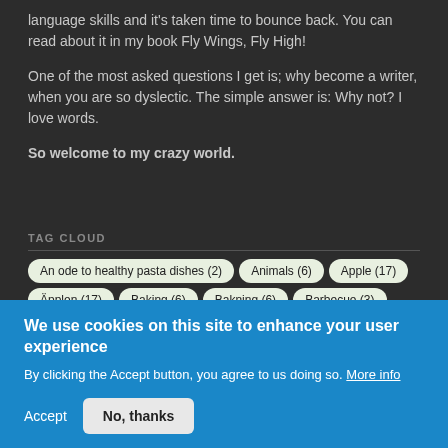language skills and it's taken time to bounce back. You can read about it in my book Fly Wings, Fly High!
One of the most asked questions I get is; why become a writer, when you are so dyslectic. The simple answer is: Why not? I love words.
So welcome to my crazy world.
TAG CLOUD
An ode to healthy pasta dishes (2)
Animals (6)
Apple (17)
Äpplen (17)
Baking (6)
Bakning (6)
Barbecue (3)
Basic food (10)
Basmat (10)
Beef (0)
Biff (0)
Bird (7)
Blackpool (0)
Blackpool (0)
Böcker (26)
Books (26)
We use cookies on this site to enhance your user experience
By clicking the Accept button, you agree to us doing so. More info
Accept
No, thanks